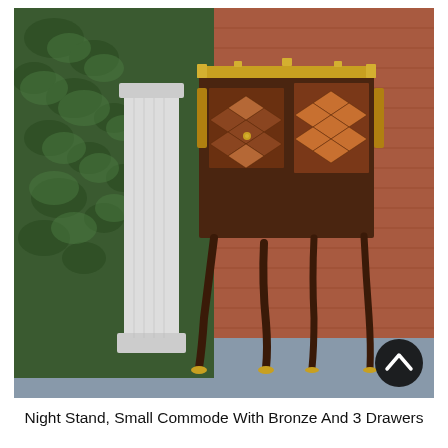[Figure (photo): Photograph of an antique night stand / small commode with bronze ormolu mounts and parquetry inlay on three drawers, set against a brick wall with ivy and a white column outdoors. A black circle with a white chevron (scroll-up button) appears in the lower right corner of the image.]
Night Stand, Small Commode With Bronze And 3 Drawers